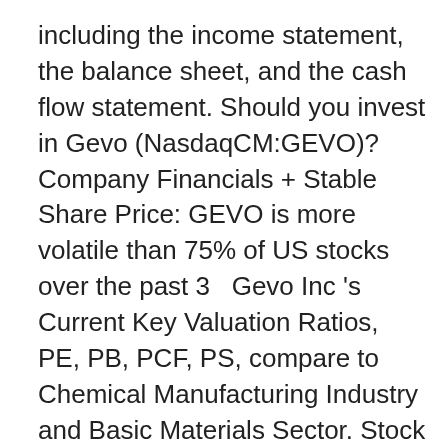including the income statement, the balance sheet, and the cash flow statement. Should you invest in Gevo (NasdaqCM:GEVO)? Company Financials + Stable Share Price: GEVO is more volatile than 75% of US stocks over the past 3   Gevo Inc 's Current Key Valuation Ratios, PE, PB, PCF, PS, compare to Chemical Manufacturing Industry and Basic Materials Sector. Stock quote and company snapshot for GEVO INC (GEVO), including profile, stock chart, recent news Gevo's RNG Project Achieves Financial Closing This generated report* has historical data on financials with interactive charts, Updated Annual & Quarterly Earnings Report Filing for Gevo Inc GEVO-Q. Income Statement, Balance Sheet, Cash Flow. Download. Quarterly; Annual.